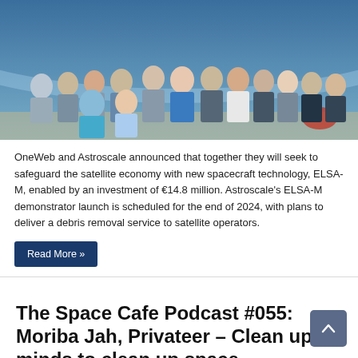[Figure (photo): Group photo of approximately 12 people standing and sitting in front of a blue space-themed mural/background in what appears to be an office setting.]
OneWeb and Astroscale announced that together they will seek to safeguard the satellite economy with new spacecraft technology, ELSA-M, enabled by an investment of €14.8 million. Astroscale's ELSA-M demonstrator launch is scheduled for the end of 2024, with plans to deliver a debris removal service to satellite operators.
Read More »
The Space Cafe Podcast #055: Moriba Jah, Privateer – Clean up minds to clean up space
Torsten Kriening   May 25, 2022